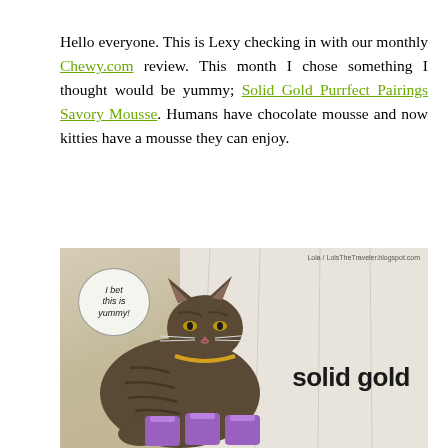Hello everyone. This is Lexy checking in with our monthly Chewy.com review. This month I chose something I thought would be yummy; Solid Gold Purrfect Pairings Savory Mousse. Humans have chocolate mousse and now kitties have a mousse they can enjoy.
[Figure (photo): A tabby cat sitting in front of a white Solid Gold branded cloth backdrop, with product packaging (Purrfect Pairings) visible in front. A speech bubble overlay reads 'I bet this is yummy!' and a watermark reads 'Lola / LolsTheTraveler.blogspot.com'.]